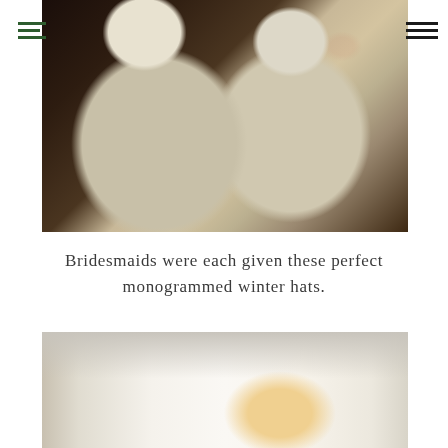[Figure (photo): Two cream/ivory knit pom-pom beanies with monograms, laid on a dark wooden surface with greenery and red berries in the background]
Bridesmaids were each given these perfect monogrammed winter hats.
[Figure (photo): Close-up of a white/cream surface, possibly a table or mantle with warm candlelight glow and soft decorative elements]